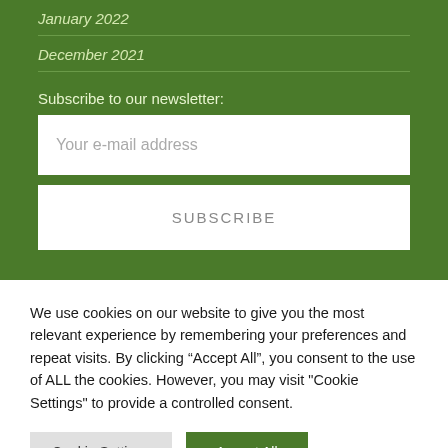January 2022
December 2021
Subscribe to our newsletter:
Your e-mail address
SUBSCRIBE
We use cookies on our website to give you the most relevant experience by remembering your preferences and repeat visits. By clicking “Accept All”, you consent to the use of ALL the cookies. However, you may visit “Cookie Settings” to provide a controlled consent.
Cookie Settings
Accept All